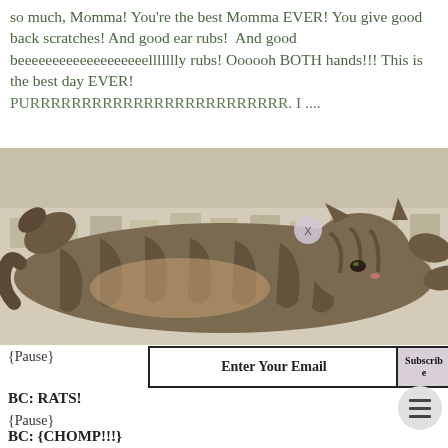so much, Momma! You're the best Momma EVER! You give good back scratches! And good ear rubs!  And good beeeeeeeeeeeeeeeeeeellllllly rubs! Oooooh BOTH hands!!! This is the best day EVER!
PURRRRRRRRRRRRRRRRRRRRRRRRR. I ....
[Figure (photo): A tabby cat lying stretched out on its back on a patterned surface, appearing to be enjoying belly rubs. A small circular X button overlay is visible.]
{Pause}
Enter Your Email [Subscribe button]
BC: RATS!
{Pause}
BC: {CHOMP!!!}
[Figure (photo): Close-up photo of a cat's face, whiskers visible, looking downward.]